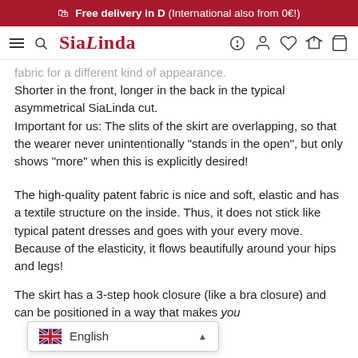🛍 Free delivery in D (International also from 0€!)
SiaLinda navigation bar
fabric for a different kind of appearance. Shorter in the front, longer in the back in the typical asymmetrical SiaLinda cut. Important for us: The slits of the skirt are overlapping, so that the wearer never unintentionally "stands in the open", but only shows "more" when this is explicitly desired!
The high-quality patent fabric is nice and soft, elastic and has a textile structure on the inside. Thus, it does not stick like typical patent dresses and goes with your every move. Because of the elasticity, it flows beautifully around your hips and legs!
The skirt has a 3-step hook closure (like a bra closure) and can be positioned in a way that makes you feel ... in the waist or on the hips, sometimes tighter or looser, as it is comfortable. In front the skirt is approx. 42
[Figure (screenshot): Language selector popup showing English flag and 'English' label with an up arrow]